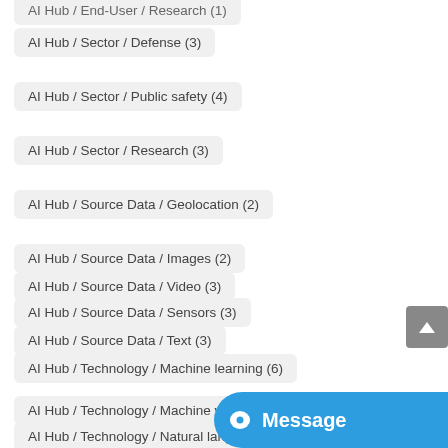AI Hub / End-User / Research (1)
AI Hub / Sector / Defense (3)
AI Hub / Sector / Public safety (4)
AI Hub / Sector / Research (3)
AI Hub / Source Data / Geolocation (2)
AI Hub / Source Data / Images (2)
AI Hub / Source Data / Sensors (3)
AI Hub / Source Data / Text (3)
AI Hub / Source Data / Video (3)
AI Hub / Technology / Machine learning (6)
AI Hub / Technology / Machine vision (4)
AI Hub / Technology / Natural language processing (5)
AI Hub / Technology / Robotics (4)